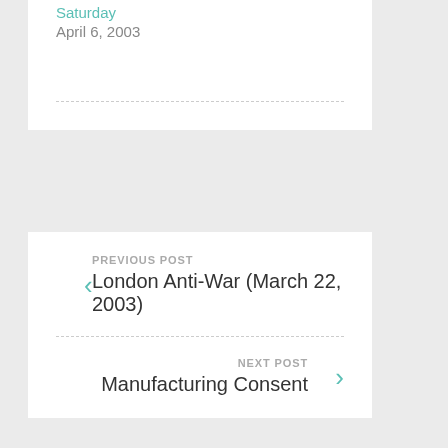Saturday
April 6, 2003
PREVIOUS POST
London Anti-War (March 22, 2003)
NEXT POST
Manufacturing Consent